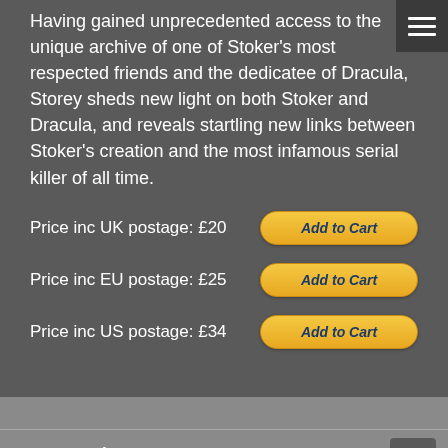Having gained unprecedented access to the unique archive of one of Stoker's most respected friends and the dedicatee of Dracula, Storey sheds new light on both Stoker and Dracula, and reveals startling new links between Stoker's creation and the most infamous serial killer of all time.
Price inc UK postage: £20
Price inc EU postage: £25
Price inc US postage: £34
Journals